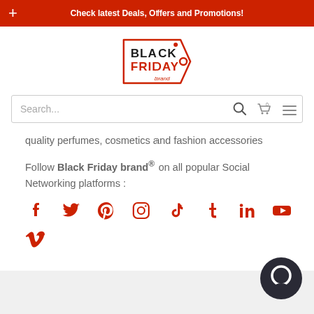+ Check latest Deals, Offers and Promotions!
[Figure (logo): Black Friday brand logo — price tag shape with BLACK FRIDAY brand text in red and black]
quality perfumes, cosmetics and fashion accessories
Follow Black Friday brand® on all popular Social Networking platforms :
[Figure (infographic): Social media icons in red: Facebook, Twitter, Pinterest, Instagram, TikTok, Tumblr, LinkedIn, YouTube, Vimeo]
[Figure (other): Dark circular chat/support button in bottom right corner]